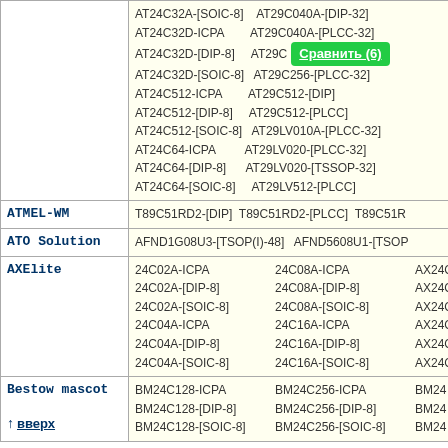| Brand | Parts |
| --- | --- |
| (ATMEL cont.) | AT24C32A-[SOIC-8]  AT29C040A-[DIP-32]
AT24C32D-ICPA  AT29C040A-[PLCC-32]
AT24C32D-[DIP-8]  AT29C...
AT24C32D-[SOIC-8]  AT29C256-[PLCC-32]
AT24C512-ICPA  AT29C512-[DIP]
AT24C512-[DIP-8]  AT29C512-[PLCC]
AT24C512-[SOIC-8]  AT29LV010A-[PLCC-32]
AT24C64-ICPA  AT29LV020-[PLCC-32]
AT24C64-[DIP-8]  AT29LV020-[TSSOP-32]
AT24C64-[SOIC-8]  AT29LV512-[PLCC] |
| ATMEL-WM | T89C51RD2-[DIP]  T89C51RD2-[PLCC]  T89C51... |
| ATO Solution | AFND1G08U3-[TSOP(I)-48]  AFND5608U1-[TSOP... |
| AXElite | 24C02A-ICPA  24C08A-ICPA  AX24C02A-...
24C02A-[DIP-8]  24C08A-[DIP-8]  AX24C02A-...
24C02A-[SOIC-8]  24C08A-[SOIC-8]  AX24C02A-...
24C04A-ICPA  24C16A-ICPA  AX24C04A-...
24C04A-[DIP-8]  24C16A-[DIP-8]  AX24C04A-...
24C04A-[SOIC-8]  24C16A-[SOIC-8]  AX24C04A-... |
| Bestow mascot | BM24C128-ICPA  BM24C256-ICPA  BM24...
BM24C128-[DIP-8]  BM24C256-[DIP-8]  BM24...
BM24C128-[SOIC-8]  BM24C256-[SOIC-8]  BM24... |